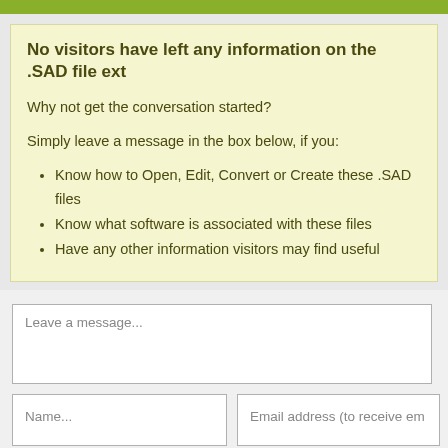No visitors have left any information on the .SAD file ext
Why not get the conversation started?
Simply leave a message in the box below, if you:
Know how to Open, Edit, Convert or Create these .SAD files
Know what software is associated with these files
Have any other information visitors may find useful
Leave a message...
Name...
Email address (to receive em